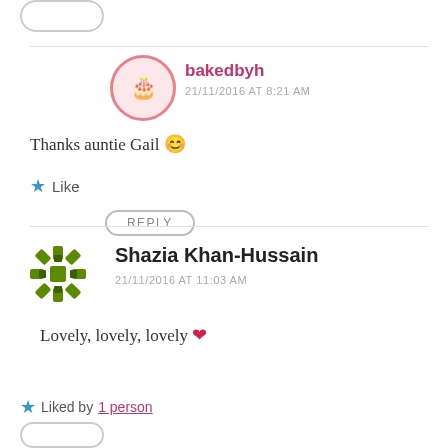[Figure (other): Rounded rectangle button outline at top left]
bakedbyh
21/11/2016 AT 8:21 AM
Thanks auntie Gail 😊
★ Like
REPLY
Shazia Khan-Hussain
21/11/2016 AT 11:03 AM
Lovely, lovely, lovely ❤
★ Liked by 1 person
[Figure (other): Rounded rectangle button outline at bottom left]